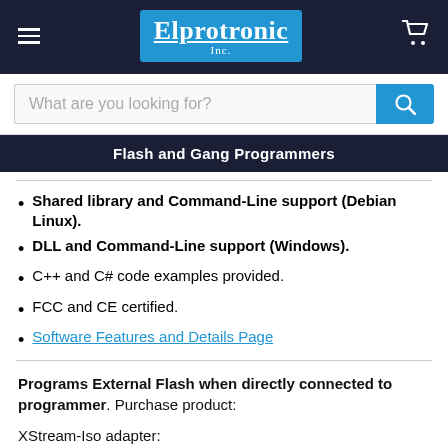Elprotronic Inc. — Flash and Gang Programmers
Shared library and Command-Line support (Debian Linux).
DLL and Command-Line support (Windows).
C++ and C# code examples provided.
FCC and CE certified.
Software Features and Details Page
Programs External Flash when directly connected to programmer. Purchase product:
XStream-Iso adapter: